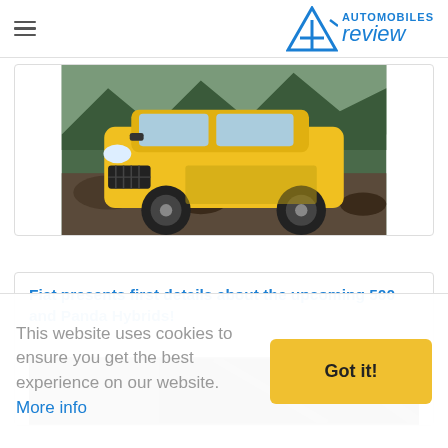Automobiles Review
[Figure (photo): Yellow Fiat Panda 4x4 SUV climbing rocky terrain with mountain background]
Fiat presents first details about the upcoming 500 and Panda Hybrids!
[Figure (photo): Partial view of car interior or exterior detail, dark colored]
This website uses cookies to ensure you get the best experience on our website. More info
Got it!